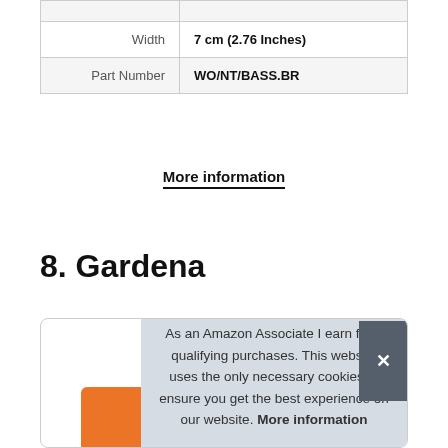| Width | 7 cm (2.76 Inches) |
| Part Number | WO/NT/BASS.BR |
More information
8. Gardena
[Figure (screenshot): Product card with cookie consent banner overlay showing Amazon Associate disclaimer and More information link, with close button]
As an Amazon Associate I earn from qualifying purchases. This website uses the only necessary cookies to ensure you get the best experience on our website. More information